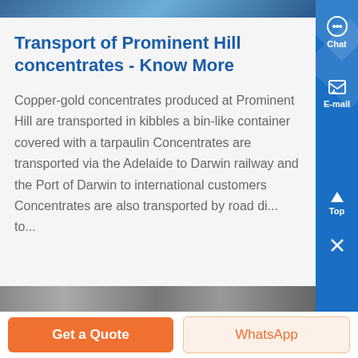[Figure (photo): Partial top image, appears to be a blue-toned photo (top strip)]
Transport of Prominent Hill concentrates - Know More
Copper-gold concentrates produced at Prominent Hill are transported in kibbles a bin-like container covered with a tarpaulin Concentrates are transported via the Adelaide to Darwin railway and the Port of Darwin to international customers Concentrates are also transported by road di... to...
[Figure (photo): Black and white photo of a road or railway transport scene at the bottom]
Get a Quote
WhatsApp